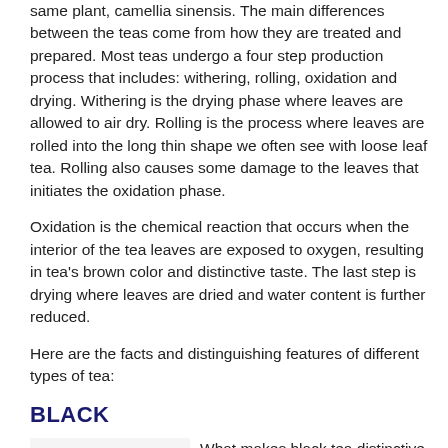same plant, camellia sinensis. The main differences between the teas come from how they are treated and prepared. Most teas undergo a four step production process that includes: withering, rolling, oxidation and drying. Withering is the drying phase where leaves are allowed to air dry. Rolling is the process where leaves are rolled into the long thin shape we often see with loose leaf tea. Rolling also causes some damage to the leaves that initiates the oxidation phase.
Oxidation is the chemical reaction that occurs when the interior of the tea leaves are exposed to oxygen, resulting in tea’s brown color and distinctive taste. The last step is drying where leaves are dried and water content is further reduced.
Here are the facts and distinguishing features of different types of tea:
BLACK
[Figure (photo): A pile of loose black tea leaves, dark brown and twisted in shape.]
What makes black tea distinctive is that these leaves are allowed to fully oxidize and become dark brown in color